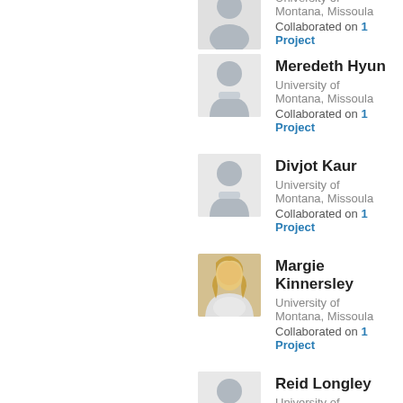University of Montana, Missoula
Collaborated on 1 Project
Meredeth Hyun
University of Montana, Missoula
Collaborated on 1 Project
Divjot Kaur
University of Montana, Missoula
Collaborated on 1 Project
Margie Kinnersley
University of Montana, Missoula
Collaborated on 1 Project
Reid Longley
University of Montana, Missoula
Collaborated on 1 Project
Ankur Makani
University of Montana, Missoula
Collaborated on 1 Project
John McCutcheon
University of Montana, Missoula
Collaborated on 1 Project
Scott Miller